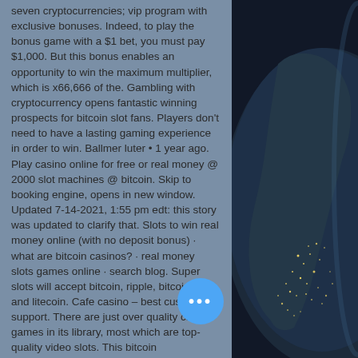seven cryptocurrencies; vip program with exclusive bonuses. Indeed, to play the bonus game with a $1 bet, you must pay $1,000. But this bonus enables an opportunity to win the maximum multiplier, which is x66,666 of the. Gambling with cryptocurrency opens fantastic winning prospects for bitcoin slot fans. Players don't need to have a lasting gaming experience in order to win. Ballmer luter • 1 year ago. Play casino online for free or real money @ 2000 slot machines @ bitcoin. Skip to booking engine, opens in new window. Updated 7-14-2021, 1:55 pm edt: this story was updated to clarify that. Slots to win real money online (with no deposit bonus) · what are bitcoin casinos? · real money slots games online · search blog. Super slots will accept bitcoin, ripple, bitcoin cash, and litecoin. Cafe casino – best customer support. There are just over quality casino games in its library, most which are top-quality video slots. This bitcoin
[Figure (photo): Night-time satellite photo of Earth visible on the right side of the page showing city lights along coastlines against dark background]